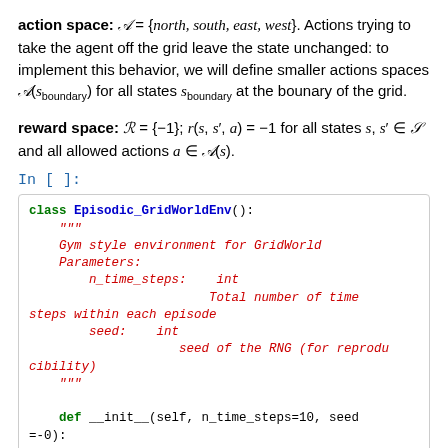action space: A = {north, south, east, west}. Actions trying to take the agent off the grid leave the state unchanged: to implement this behavior, we will define smaller actions spaces A(s_boundary) for all states s_boundary at the bounary of the grid.
reward space: R = {-1}; r(s, s', a) = -1 for all states s, s' in S and all allowed actions a in A(s).
In [ ]:
class Episodic_GridWorldEnv():
    """
    Gym style environment for GridWorld
    Parameters:
        n_time_steps:   int
                        Total number of time steps within each episode
        seed:   int
                seed of the RNG (for reproducibility)
    """

    def __init__(self, n_time_steps=10, seed=-0):